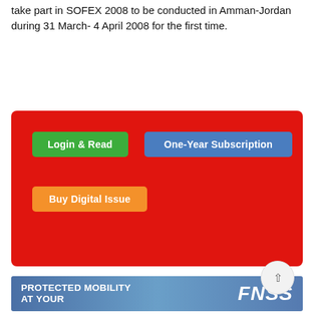take part in SOFEX 2008 to be conducted in Amman-Jordan during 31 March- 4 April 2008 for the first time.
[Figure (screenshot): Red box with three subscription buttons: 'Login & Read' (green), 'One-Year Subscription' (blue), 'Buy Digital Issue' (orange)]
[Figure (screenshot): Advertisement banner with blue gradient background showing 'PROTECTED MOBILITY AT YOUR' text on left and FNSS logo on right]